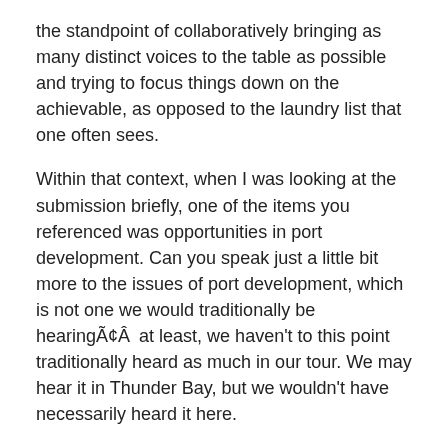the standpoint of collaboratively bringing as many distinct voices to the table as possible and trying to focus things down on the achievable, as opposed to the laundry list that one often sees.
Within that context, when I was looking at the submission briefly, one of the items you referenced was opportunities in port development. Can you speak just a little bit more to the issues of port development, which is not one we would traditionally be hearingÃ¢Âat least, we haven't to this point traditionally heard as much in our tour. We may hear it in Thunder Bay, but we wouldn't have necessarily heard it here.
1120
Mr. Alan Spacek: It's a little unique, but it leads right to the last point I talked to you about, which was the Ontario Northland Transportation Commission. In that particular concept, it was around the context of Moosonee, being in